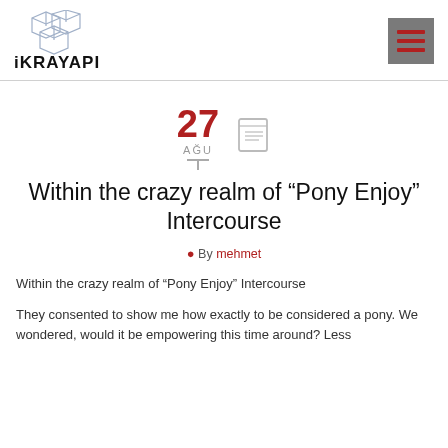[Figure (logo): iKRAYAPI logo with stacked cube wireframe graphics and bold text 'iKRAYAPI']
27 AGU
Within the crazy realm of “Pony Enjoy” Intercourse
By mehmet
Within the crazy realm of “Pony Enjoy” Intercourse
They consented to show me how exactly to be considered a pony. We wondered, would it be empowering this time around? Less